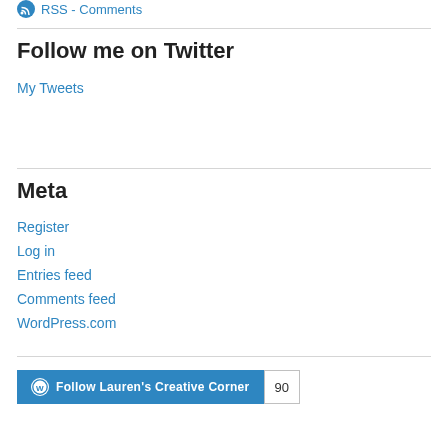RSS - Comments
Follow me on Twitter
My Tweets
Meta
Register
Log in
Entries feed
Comments feed
WordPress.com
[Figure (other): WordPress Follow button for Lauren's Creative Corner with follower count 90]